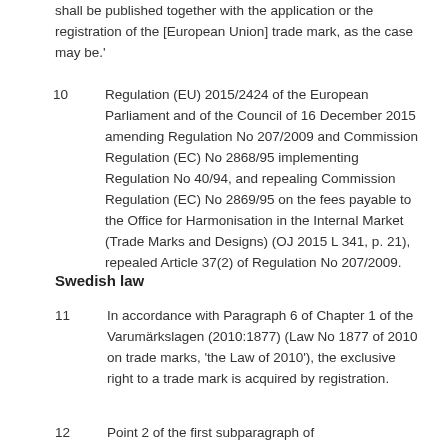shall be published together with the application or the registration of the [European Union] trade mark, as the case may be.'
10    Regulation (EU) 2015/2424 of the European Parliament and of the Council of 16 December 2015 amending Regulation No 207/2009 and Commission Regulation (EC) No 2868/95 implementing Regulation No 40/94, and repealing Commission Regulation (EC) No 2869/95 on the fees payable to the Office for Harmonisation in the Internal Market (Trade Marks and Designs) (OJ 2015 L 341, p. 21), repealed Article 37(2) of Regulation No 207/2009.
Swedish law
11    In accordance with Paragraph 6 of Chapter 1 of the Varumärkslagen (2010:1877) (Law No 1877 of 2010 on trade marks, 'the Law of 2010'), the exclusive right to a trade mark is acquired by registration.
12    Point 2 of the first subparagraph of